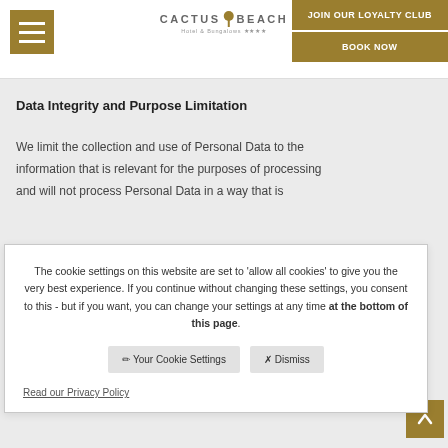Cactus Beach Hotel & Bungalows
Data Integrity and Purpose Limitation
We limit the collection and use of Personal Data to the information that is relevant for the purposes of processing and will not process Personal Data in a way that is
The cookie settings on this website are set to 'allow all cookies' to give you the very best experience. If you continue without changing these settings, you consent to this - but if you want, you can change your settings at any time at the bottom of this page.
Your Cookie Settings   Dismiss
Read our Privacy Policy